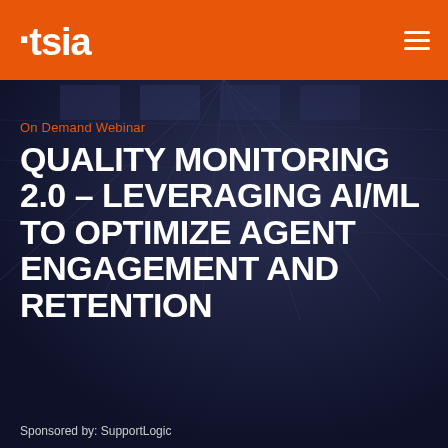tsia
On Demand Webinar
QUALITY MONITORING 2.0 – LEVERAGING AI/ML TO OPTIMIZE AGENT ENGAGEMENT AND RETENTION
Sponsored by: SupportLogic